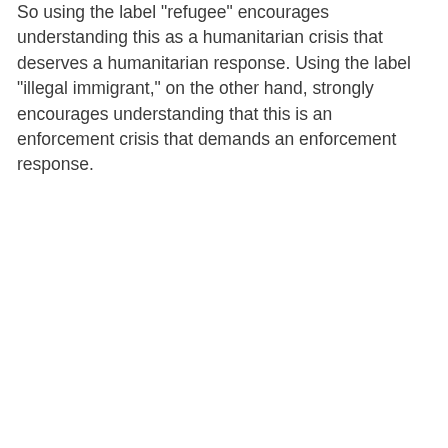So using the label "refugee" encourages understanding this as a humanitarian crisis that deserves a humanitarian response. Using the label "illegal immigrant," on the other hand, strongly encourages understanding that this is an enforcement crisis that demands an enforcement response.